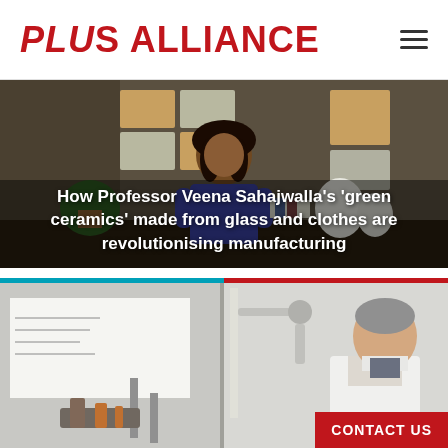PLuS ALLIANCE
[Figure (photo): Professor Veena Sahajwalla standing in a modern office/studio with geometric wall panels and soft lighting, with text overlay about green ceramics]
How Professor Veena Sahajwalla's 'green ceramics' made from glass and clothes are revolutionising manufacturing
[Figure (photo): A scientist in a white lab coat standing next to laboratory equipment including what appears to be a 3D printer or robotic arm, in a lab setting]